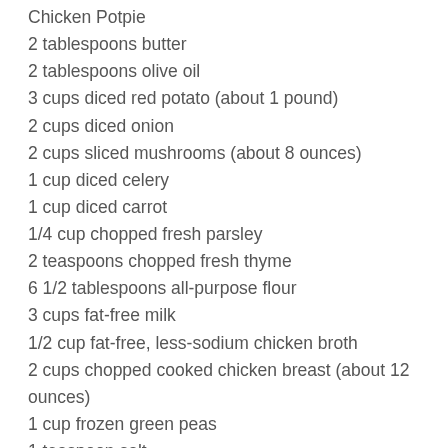Chicken Potpie
2 tablespoons butter
2 tablespoons olive oil
3 cups diced red potato (about 1 pound)
2 cups diced onion
2 cups sliced mushrooms (about 8 ounces)
1 cup diced celery
1 cup diced carrot
1/4 cup chopped fresh parsley
2 teaspoons chopped fresh thyme
6 1/2 tablespoons all-purpose flour
3 cups fat-free milk
1/2 cup fat-free, less-sodium chicken broth
2 cups chopped cooked chicken breast (about 12 ounces)
1 cup frozen green peas
1 teaspoon salt